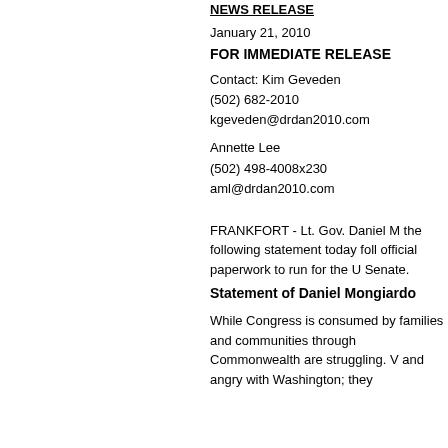NEWS RELEASE
January 21, 2010
FOR IMMEDIATE RELEASE
Contact: Kim Geveden
(502) 682-2010
kgeveden@drdan2010.com
Annette Lee
(502) 498-4008x230
aml@drdan2010.com
FRANKFORT - Lt. Gov. Daniel M the following statement today foll official paperwork to run for the U Senate.
Statement of Daniel Mongiardo
While Congress is consumed by families and communities through Commonwealth are struggling. V and angry with Washington; they